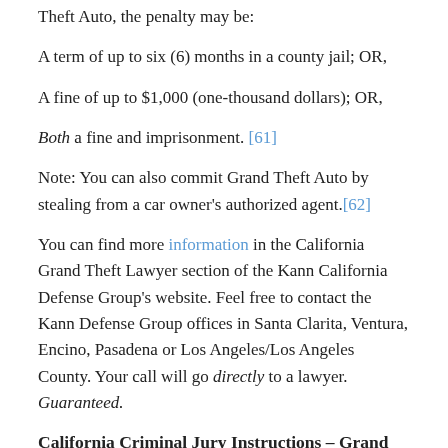Theft Auto, the penalty may be:
A term of up to six (6) months in a county jail; OR,
A fine of up to $1,000 (one-thousand dollars); OR,
Both a fine and imprisonment. [61]
Note: You can also commit Grand Theft Auto by stealing from a car owner's authorized agent.[62]
You can find more information in the California Grand Theft Lawyer section of the Kann California Defense Group's website. Feel free to contact the Kann Defense Group offices in Santa Clarita, Ventura, Encino, Pasadena or Los Angeles/Los Angeles County. Your call will go directly to a lawyer. Guaranteed.
California Criminal Jury Instructions – Grand Theft